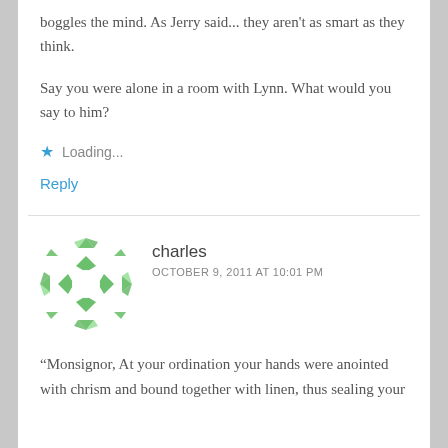boggles the mind. As Jerry said... they aren't as smart as they think.
Say you were alone in a room with Lynn. What would you say to him?
Loading...
Reply
charles
OCTOBER 9, 2011 AT 10:01 PM
“Monsignor, At your ordination your hands were anointed with chrism and bound together with linen, thus sealing your